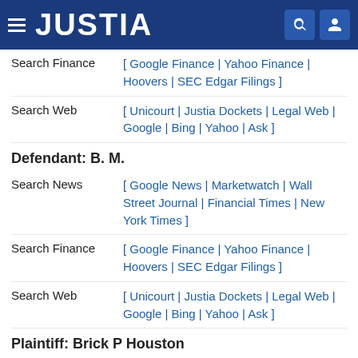JUSTIA
Search Finance [ Google Finance | Yahoo Finance | Hoovers | SEC Edgar Filings ]
Search Web [ Unicourt | Justia Dockets | Legal Web | Google | Bing | Yahoo | Ask ]
Defendant: B. M.
Search News [ Google News | Marketwatch | Wall Street Journal | Financial Times | New York Times ]
Search Finance [ Google Finance | Yahoo Finance | Hoovers | SEC Edgar Filings ]
Search Web [ Unicourt | Justia Dockets | Legal Web | Google | Bing | Yahoo | Ask ]
Plaintiff: Brick P Houston
Search News [ Google News | Marketwatch | Wall ...